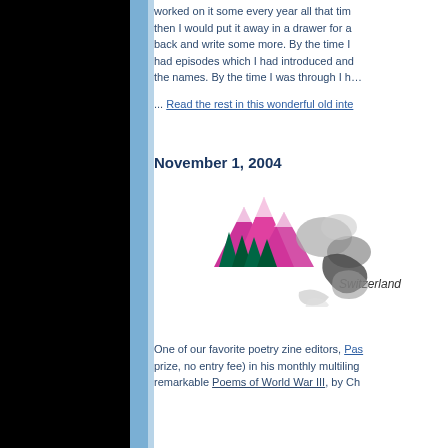worked on it some every year all that time, then I would put it away in a drawer for a back and write some more. By the time I had episodes which I had introduced and the names. By the time I was through I h
... Read the rest in this wonderful old inte
November 1, 2004
[Figure (illustration): Colorful stylized Switzerland landscape logo with pink/magenta mountains, dark green trees, and swirling smoke or clouds in gray/black tones]
Switzerland
One of our favorite poetry zine editors, Pas prize, no entry fee) in his monthly multiling remarkable Poems of World War III, by Ch